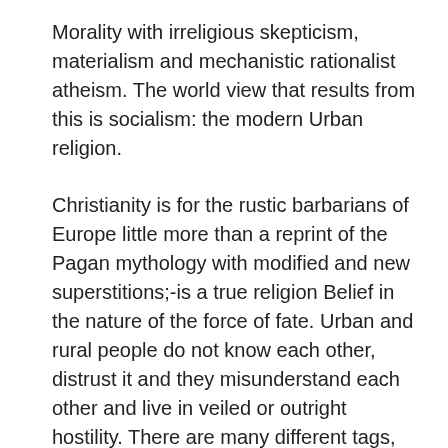Morality with irreligious skepticism, materialism and mechanistic rationalist atheism. The world view that results from this is socialism: the modern Urban religion.
Christianity is for the rustic barbarians of Europe little more than a reprint of the Pagan mythology with modified and new superstitions;-is a true religion Belief in the nature of the force of fate. Urban and rural people do not know each other, distrust it and they misunderstand each other and live in veiled or outright hostility. There are many different tags, among which this basic opposition hides: Red and Green International, industrialism and Agrarianism, progress and reaction, Judaism and anti-Semitism.